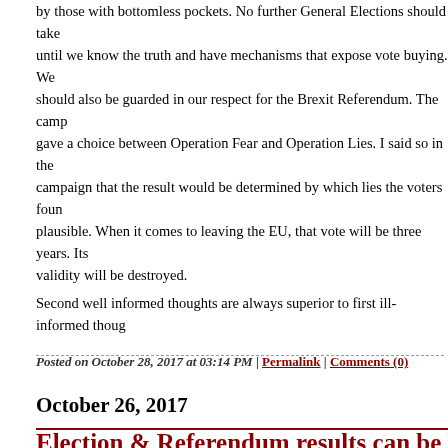by those with bottomless pockets. No further General Elections should take until we know the truth and have mechanisms that expose vote buying. We should also be guarded in our respect for the Brexit Referendum. The camp gave a choice between Operation Fear and Operation Lies. I said so in the campaign that the result would be determined by which lies the voters foun plausible. When it comes to leaving the EU, that vote will be three years. Its validity will be destroyed.
Second well informed thoughts are always superior to first ill-informed thoug
Posted on October 28, 2017 at 03:14 PM | Permalink | Comments (0)
October 26, 2017
Election & Referendum results can be bou
26th Oct 2017
I did my genuflexion to democracy by voting to sta article 50 process, we cannot be bound by a snap